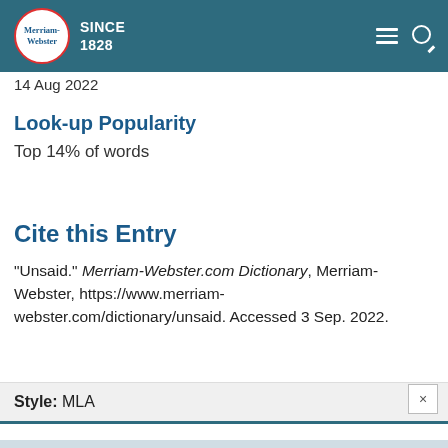Merriam-Webster SINCE 1828
14 Aug 2022
Look-up Popularity
Top 14% of words
Cite this Entry
“Unsaid.” Merriam-Webster.com Dictionary, Merriam-Webster, https://www.merriam-webster.com/dictionary/unsaid. Accessed 3 Sep. 2022.
Style: MLA